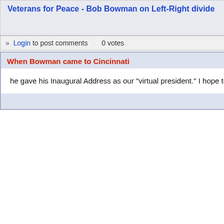Veterans for Peace - Bob Bowman on Left-Right divide
jonathan mark on Tue, 05/18/2010 - 8:01a
» Login to post comments   0 votes
When Bowman came to Cincinnati
he gave his Inaugural Address as our "virtual president." I hope to have it up sometime soon.
Adam Syed on Tue, 05/18/2010 - 4:07p
Cold War Period
The CIA in Kuwait Parallel to a 9/11 Suspect
The Holocaust Mind Control and 9/11
The 9/11 Joint Congr